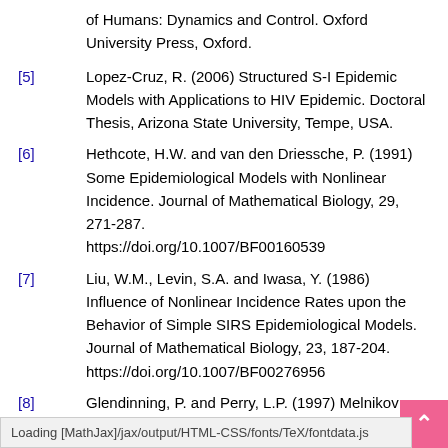of Humans: Dynamics and Control. Oxford University Press, Oxford.
[5] Lopez-Cruz, R. (2006) Structured S-I Epidemic Models with Applications to HIV Epidemic. Doctoral Thesis, Arizona State University, Tempe, USA.
[6] Hethcote, H.W. and van den Driessche, P. (1991) Some Epidemiological Models with Nonlinear Incidence. Journal of Mathematical Biology, 29, 271-287. https://doi.org/10.1007/BF00160539
[7] Liu, W.M., Levin, S.A. and Iwasa, Y. (1986) Influence of Nonlinear Incidence Rates upon the Behavior of Simple SIRS Epidemiological Models. Journal of Mathematical Biology, 23, 187-204. https://doi.org/10.1007/BF00276956
[8] Glendinning, P. and Perry, L.P. (1997) Melnikov Analysis of ... Journal of
Loading [MathJax]/jax/output/HTML-CSS/fonts/TeX/fontdata.js